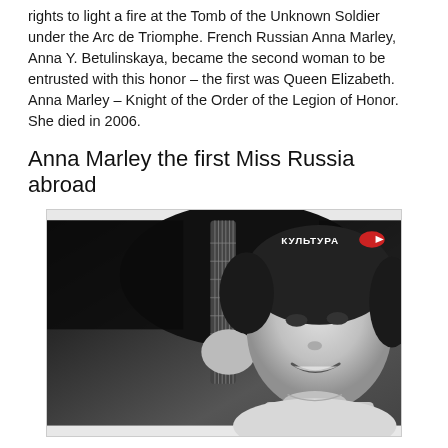rights to light a fire at the Tomb of the Unknown Soldier under the Arc de Triomphe. French Russian Anna Marley, Anna Y. Betulinskaya, became the second woman to be entrusted with this honor – the first was Queen Elizabeth. Anna Marley – Knight of the Order of the Legion of Honor. She died in 2006.
Anna Marley the first Miss Russia abroad
[Figure (photo): Black and white photograph of Anna Marley, a woman with dark hair smiling, holding a guitar. A КУЛЬТУРА (Kultura) watermark/logo is visible in the upper right corner of the image.]